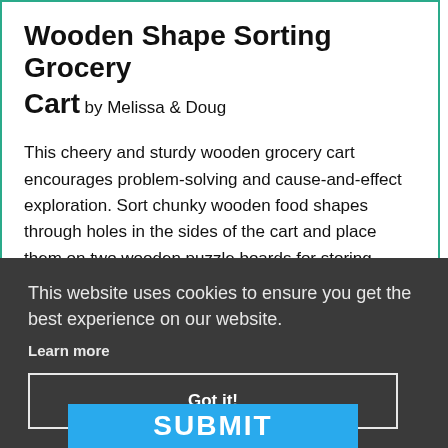Wooden Shape Sorting Grocery Cart by Melissa & Doug
This cheery and sturdy wooden grocery cart encourages problem-solving and cause-and-effect exploration. Sort chunky wooden food shapes through holes in the sides of the cart and place them on two wooden puzzle boards for storing.
lls
This website uses cookies to ensure you get the best experience on our website.
Learn more
Got it!
SUBMIT